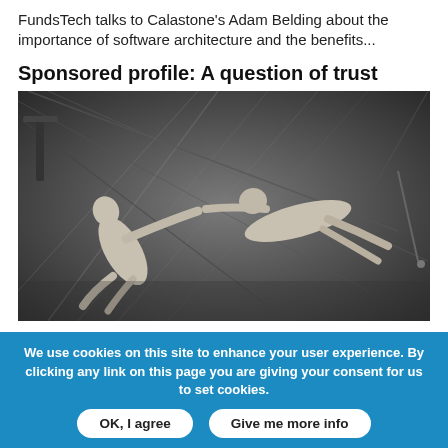FundsTech talks to Calastone's Adam Belding about the importance of software architecture and the benefits...
Sponsored profile: A question of trust
[Figure (photo): Black and white photograph of two trapeze artists mid-flight reaching toward each other, suspended by cables against a fabric backdrop.]
We use cookies on this site to enhance your user experience. By clicking any link on this page you are giving your consent for us to set cookies.